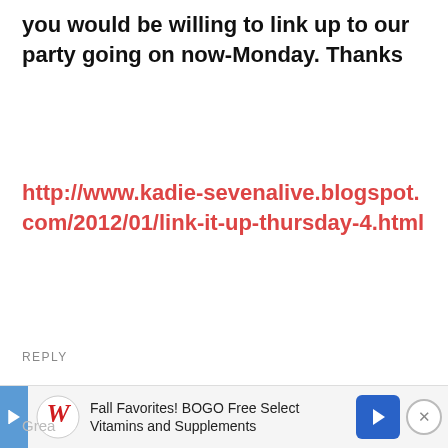What a great up cycle! I would LOVE it if you would be willing to link up to our party going on now-Monday. Thanks
http://www.kadie-sevenalive.blogspot.com/2012/01/link-it-up-thursday-4.html
REPLY
Angie
January 26, 2012 at 7:03 pm
[Figure (other): Advertisement banner: Walgreens ad - Fall Favorites! BOGO Free Select Vitamins and Supplements, with play button, Walgreens logo, navigation arrow, and close button. Partially overlapping 'Grea' text at bottom left.]